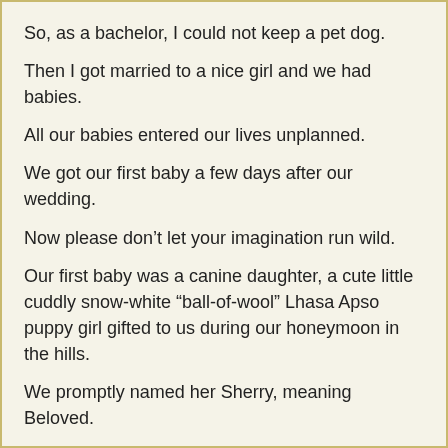So, as a bachelor, I could not keep a pet dog.
Then I got married to a nice girl and we had babies.
All our babies entered our lives unplanned.
We got our first baby a few days after our wedding.
Now please don’t let your imagination run wild.
Our first baby was a canine daughter, a cute little cuddly snow-white “ball-of-wool” Lhasa Apso puppy girl gifted to us during our honeymoon in the hills.
We promptly named her Sherry, meaning Beloved.
Everyone was aghast that we had got a pet dog immediately after our marriage, and that too into our tiny one-room flat at Curzon Road Apartments in Delhi.
Most of our friends and relatives did not recommend having